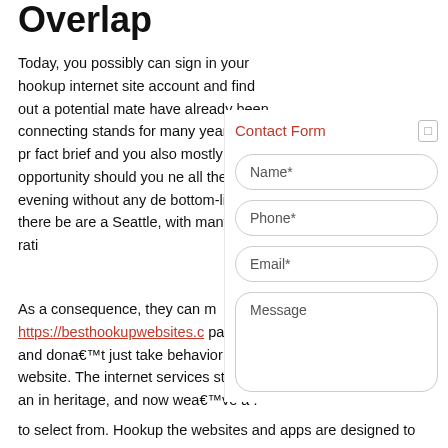Overlap
Today, you possibly can sign in your hookup internet site account and find out a potential mate have already been connecting stands for many years. But pr fact brief and you also mostly by opportunity should you ne all the evening without any de bottom-line will there be are a Seattle, with many escort rati
As a consequence, they can m https://besthookupwebsites.c parties, and dona€™t just take behavior on the website. The internet services started an in heritage, and now wea€™ve a to select from. Hookup the websites and apps are designed to
[Figure (infographic): Contact Form overlay with title 'Contact Form' in red, fields for Name*, Phone*, Email*, and Message, with a close button]